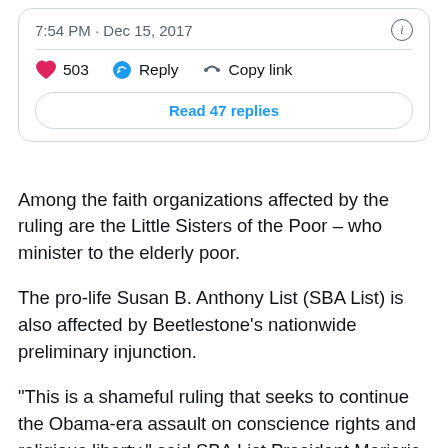[Figure (screenshot): Twitter/X post card showing timestamp '7:54 PM · Dec 15, 2017', an info icon, a divider, action row with heart icon and '503', reply icon and 'Reply', link icon and 'Copy link', and a 'Read 47 replies' button]
Among the faith organizations affected by the ruling are the Little Sisters of the Poor – who minister to the elderly poor.
The pro-life Susan B. Anthony List (SBA List) is also affected by Beetlestone's nationwide preliminary injunction.
“This is a shameful ruling that seeks to continue the Obama-era assault on conscience rights and religious liberty,” said SBA List President Marjorie Dannenfelser in a statement sent to Breitbart News. “Why should Catholic